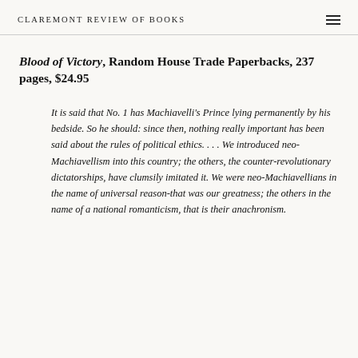CLAREMONT REVIEW OF BOOKS
Blood of Victory, Random House Trade Paperbacks, 237 pages, $24.95
It is said that No. 1 has Machiavelli's Prince lying permanently by his bedside. So he should: since then, nothing really important has been said about the rules of political ethics. . . . We introduced neo-Machiavellism into this country; the others, the counter-revolutionary dictatorships, have clumsily imitated it. We were neo-Machiavellians in the name of universal reason-that was our greatness; the others in the name of a national romanticism, that is their anachronism.